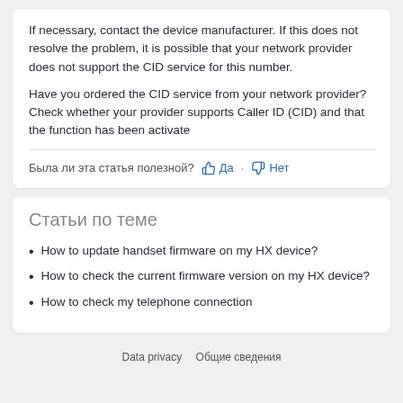If necessary, contact the device manufacturer. If this does not resolve the problem, it is possible that your network provider does not support the CID service for this number.
Have you ordered the CID service from your network provider? Check whether your provider supports Caller ID (CID) and that the function has been activate
Была ли эта статья полезной? 👍 Да · 👎 Нет
Статьи по теме
How to update handset firmware on my HX device?
How to check the current firmware version on my HX device?
How to check my telephone connection
Data privacy   Общие сведения